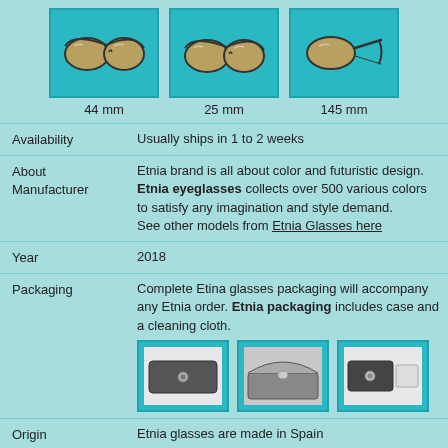[Figure (photo): Three product images of eyeglasses: front view 44mm, front view 25mm, side view 145mm]
44 mm     25 mm     145 mm
| Field | Value |
| --- | --- |
| Availability | Usually ships in 1 to 2 weeks |
| About Manufacturer | Etnia brand is all about color and futuristic design. Etnia eyeglasses collects over 500 various colors to satisfy any imagination and style demand. See other models from Etnia Glasses here |
| Year | 2018 |
| Packaging | Complete Etina glasses packaging will accompany any Etnia order. Etnia packaging includes case and a cleaning cloth. |
| Origin | Etnia glasses are made in Spain |
[Figure (photo): Three packaging images: closed glasses case, open glasses case, glasses case with cleaning cloth]